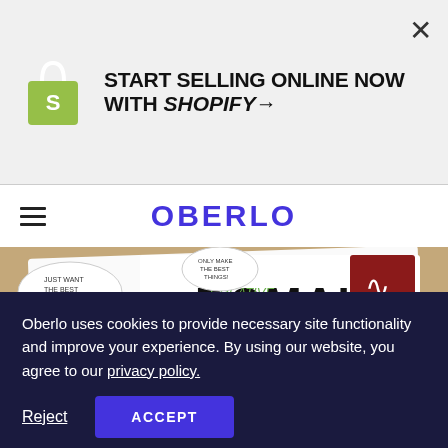[Figure (infographic): Shopify advertisement banner with green shopping bag logo and bold text: START SELLING ONLINE NOW WITH SHOPIFY→, with X close button]
OBERLO
[Figure (photo): Hero image of hands holding open a sketchbook/notebook with creative marketing doodles including words DOMAIN, CREATIVE, CONTENT, LAYOUT, colorful dots, and wireframe illustrations]
Oberlo uses cookies to provide necessary site functionality and improve your experience. By using our website, you agree to our privacy policy.
Reject
ACCEPT